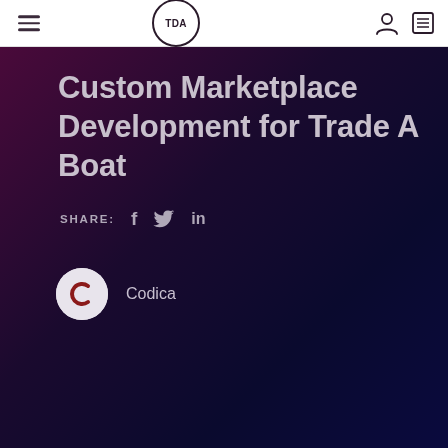TDA navigation header with hamburger menu, TDA logo, user icon, and menu icon
Custom Marketplace Development for Trade A Boat
SHARE: f  in
Codica